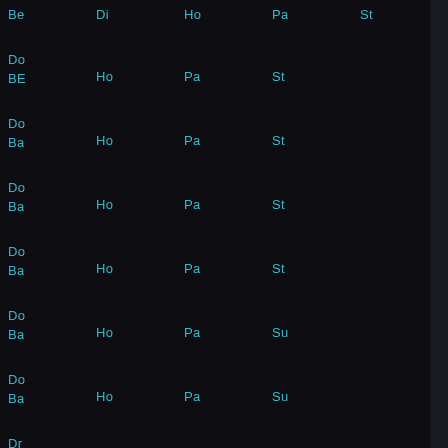| Col1 | Col2 | Col3 | Col4 | Col5 |
| --- | --- | --- | --- | --- |
| Be | Di | Ho | Pa | St |
| BE | Do | Ho | Pa | St |
| Ba | Do | Ho | Pa | St |
| Ba | Do | Ho | Pa | St |
| Ba | Do | Ho | Pa | St |
| Ba | Do | Ho | Pa | Su |
| Ba | Do | Ho | Pa | Su |
| Ba | Dr | Ho | Pa | Su |
| Ba | Dr | Ho | Pa | Sw |
| Ba | Dr | Ho | Pe | Sw |
| Ba | Dr | Ho | Pe | Sw |
| Ba | Dr | Hu | Pe | Sw |
| Ba | Du | Hu | Pe | Sw |
| Ba | Dy | Hu | Pe | Sw |
| Be | Eb | Hu | Pe | Sw |
| Be | El | Hu | Pe | Sw |